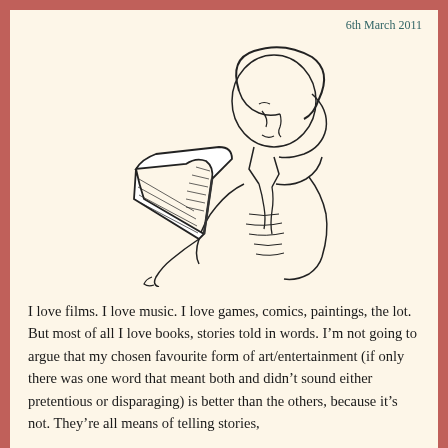6th March 2011
[Figure (illustration): Pen and ink sketch of a young woman with a bob haircut, seen in profile, holding and reading an open book. She is wearing a sleeveless top. The drawing is in a loose, sketchy style with black lines on white background.]
I love films. I love music. I love games, comics, paintings, the lot. But most of all I love books, stories told in words. I’m not going to argue that my chosen favourite form of art/entertainment (if only there was one word that meant both and didn’t sound either pretentious or disparaging) is better than the others, because it’s not. They’re all means of telling stories,